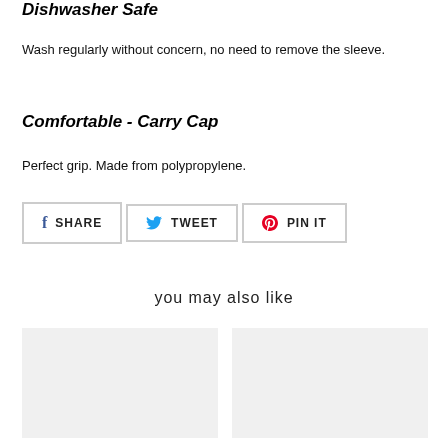Dishwasher Safe
Wash regularly without concern, no need to remove the sleeve.
Comfortable - Carry Cap
Perfect grip. Made from polypropylene.
[Figure (other): Social sharing buttons: SHARE (Facebook), TWEET (Twitter), PIN IT (Pinterest)]
you may also like
[Figure (photo): Product thumbnail placeholder (light gray box, left)]
[Figure (photo): Product thumbnail placeholder (light gray box, right)]